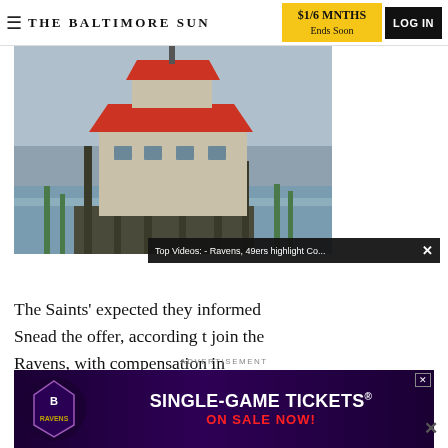THE BALTIMORE SUN | $1/6 MNTHS Ends Soon | LOG IN
[Figure (photo): Photo of a waterfront structure/lighthouse-like building on stilts over water with a red roof, overcast sky]
[Figure (screenshot): Video overlay: 'Top Videos: - Ravens, 49ers highlight Co...' with football game thumbnail showing Ravens player #8 throwing and 49ers player #15 running]
The Saints' expected they informed Snead the offer, according t join the Ravens, with compensation in return.
ADVERTISEMENT
[Figure (photo): Baltimore Ravens advertisement: SINGLE-GAME TICKETS ON SALE NOW!]